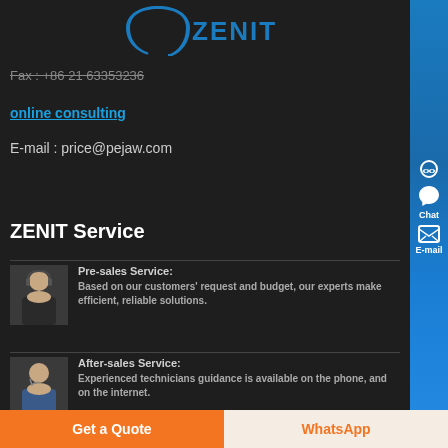[Figure (logo): Zenit logo with blue arch/helmet icon and ZENIT text in blue]
Fax : +86 21 63353236
online consulting
E-mail : price@pejaw.com
ZENIT Service
Pre-sales Service: Based on our customers' request and budget, our experts make efficient, reliable solutions.
After-sales Service: Experienced technicians guidance is available on the phone, and on the internet.
Get a Quote
WhatsApp